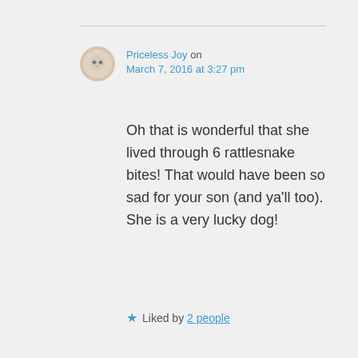[Figure (illustration): Small circular avatar image of a white/cream colored cat]
Priceless Joy on March 7, 2016 at 3:27 pm
Oh that is wonderful that she lived through 6 rattlesnake bites! That would have been so sad for your son (and ya'll too). She is a very lucky dog!
★ Liked by 2 people